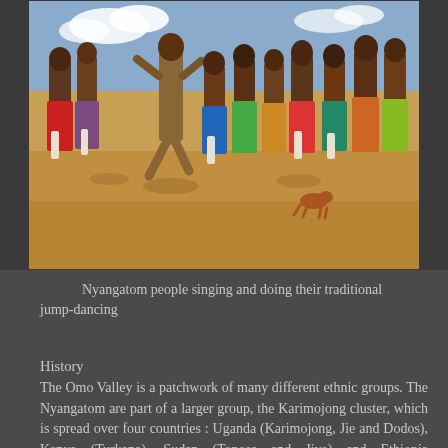[Figure (photo): Nyangatom people gathered in a group on sandy ground, some jumping, wearing colorful traditional clothing and body paint, with a small dog visible on the ground and a clear sky in the background.]
Nyangatom people singing and doing their traditional jump-dancing
History
The Omo Valley is a patchwork of many different ethnic groups. The Nyangatom are part of a larger group, the Karimojong cluster, which is spread over four countries : Uganda (Karimojong, Jie and Dodos), Kenya (Turkana), Sudan (Toposa and Jiye) and Ethiopia (Nyangatom).